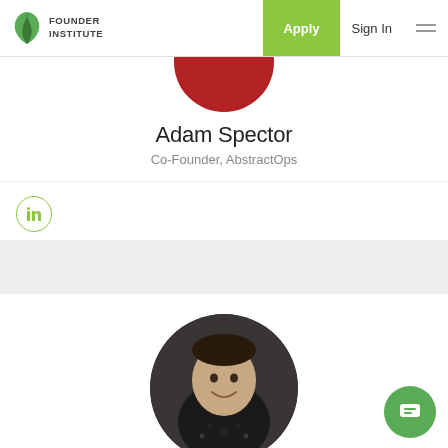Founder Institute — Apply | Sign In
[Figure (photo): Partial circular photo of Adam Spector, cropped at top, showing red/dark background]
Adam Spector
Co-Founder, AbstractOps
[Figure (logo): LinkedIn icon button, circle outline in green]
[Figure (photo): Circular headshot of Adam Winograd, smiling man in dark patterned shirt]
Adam Winograd